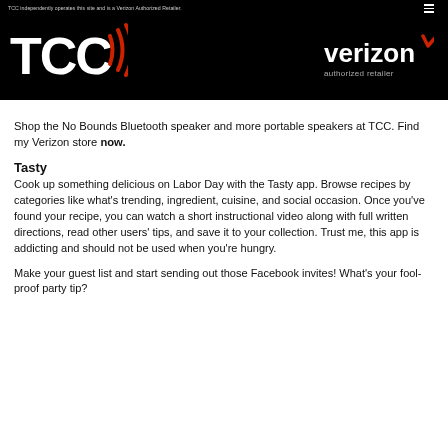TCC independently operates this site and is a Verizon Authorized Retailer
[Figure (logo): TCC logo with red signal wave marks on black background]
[Figure (logo): Verizon authorized retailer logo in white on black background]
Shop the No Bounds Bluetooth speaker and more portable speakers at TCC. Find my Verizon store now.
Tasty
Cook up something delicious on Labor Day with the Tasty app. Browse recipes by categories like what’s trending, ingredient, cuisine, and social occasion. Once you’ve found your recipe, you can watch a short instructional video along with full written directions, read other users’ tips, and save it to your collection. Trust me, this app is addicting and should not be used when you’re hungry.
Make your guest list and start sending out those Facebook invites! What’s your fool-proof party tip?